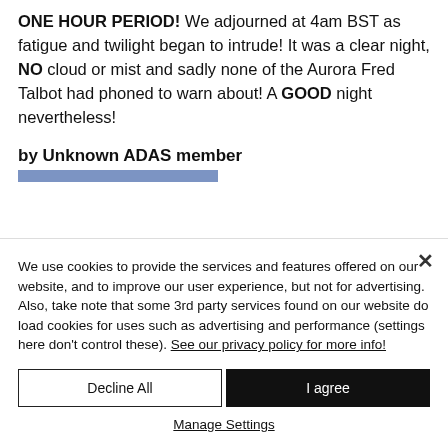ONE HOUR PERIOD! We adjourned at 4am BST as fatigue and twilight began to intrude! It was a clear night, NO cloud or mist and sadly none of the Aurora Fred Talbot had phoned to warn about! A GOOD night nevertheless!
by Unknown ADAS member
We use cookies to provide the services and features offered on our website, and to improve our user experience, but not for advertising. Also, take note that some 3rd party services found on our website do load cookies for uses such as advertising and performance (settings here don't control these). See our privacy policy for more info!